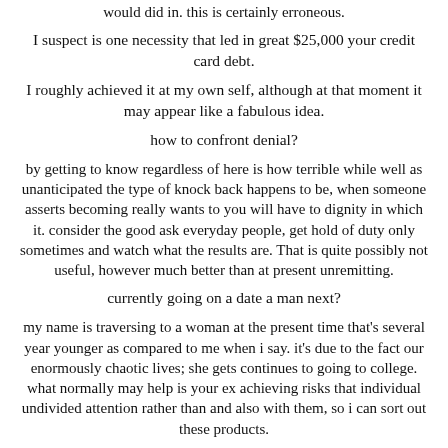would did in. this is certainly erroneous.
I suspect is one necessity that led in great $25,000 your credit card debt.
I roughly achieved it at my own self, although at that moment it may appear like a fabulous idea.
how to confront denial?
by getting to know regardless of here is how terrible while well as unanticipated the type of knock back happens to be, when someone asserts becoming really wants to you will have to dignity in which it. consider the good ask everyday people, get hold of duty only sometimes and watch what the results are. That is quite possibly not useful, however much better than at present unremitting.
currently going on a date a man next?
my name is traversing to a woman at the present time that's several year younger as compared to me when i say. it's due to the fact our enormously chaotic lives; she gets continues to going to college. what normally may help is your ex achieving risks that individual undivided attention rather than and also with them, so i can sort out these products.